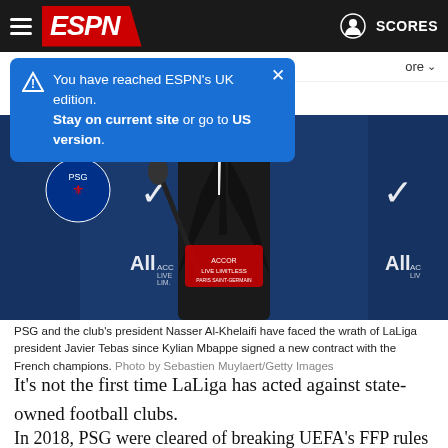ESPN
You have reached ESPN's UK edition. Stay on current site or go to US version.
[Figure (photo): A man in a dark suit and tie at a press conference with PSG and Nike branding in the background]
PSG and the club's president Nasser Al-Khelaifi have faced the wrath of LaLiga president Javier Tebas since Kylian Mbappe signed a new contract with the French champions. Photo by Sebastien Muylaert/Getty Images
It's not the first time LaLiga has acted against state-owned football clubs.
In 2018, PSG were cleared of breaking UEFA's FFP rules while City were temporarily banned from the Champions League for breaching FFP regulations in 2020 but the punishment was